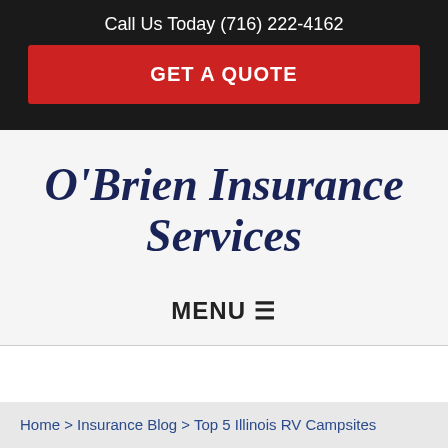Call Us Today (716) 222-4162
GET A QUOTE
O'Brien Insurance Services
MENU ☰
Home > Insurance Blog > Top 5 Illinois RV Campsites